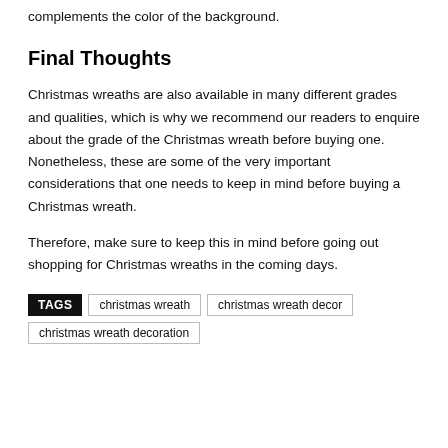complements the color of the background.
Final Thoughts
Christmas wreaths are also available in many different grades and qualities, which is why we recommend our readers to enquire about the grade of the Christmas wreath before buying one. Nonetheless, these are some of the very important considerations that one needs to keep in mind before buying a Christmas wreath.
Therefore, make sure to keep this in mind before going out shopping for Christmas wreaths in the coming days.
TAGS  christmas wreath  christmas wreath decor  christmas wreath decoration